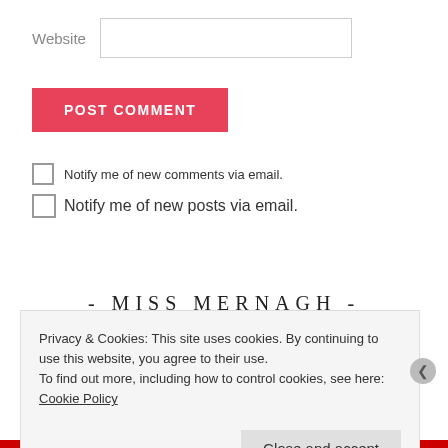Website
POST COMMENT
Notify me of new comments via email.
Notify me of new posts via email.
- MISS MERNAGH -
[Figure (photo): Partial photo strip showing a tan/golden landscape or object]
Privacy & Cookies: This site uses cookies. By continuing to use this website, you agree to their use.
To find out more, including how to control cookies, see here: Cookie Policy
Close and accept